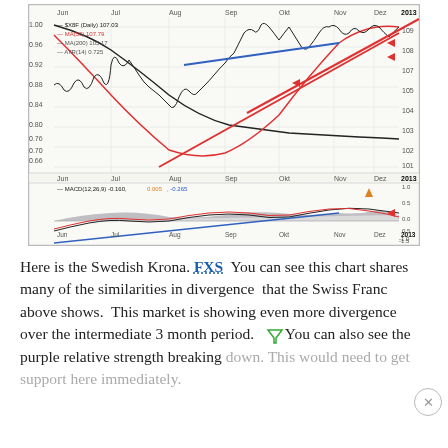[Figure (continuous-plot): FXS (Swedish Krona ETF) daily price chart with MA(50), MA(200), ATR(14) overlays, trendlines (red upward channel, blue resistance), and red/orange arrows indicating divergence signals. Lower panel shows MACD(12,26,9) with signal line and histogram. X-axis spans Jun to 2013 (Jan). Left y-axis: 0.56-1.00 range. Right y-axis: 101-109 range. MACD panel y-axis: -1.5 to 1.0.]
Here is the Swedish Krona. FXS  You can see this chart shares many of the similarities in divergence  that the Swiss Franc above shows.  This market is showing even more divergence over the intermediate 3 month period.  You can also see the purple relative strength breaking down. This would need to get support here immediately.